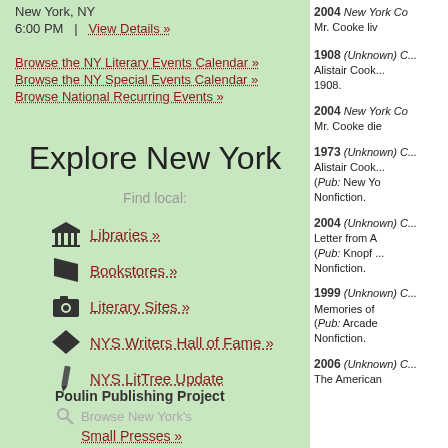New York, NY
6:00 PM  |  View Details »
Browse the NY Literary Events Calendar »
Browse the NY Special Events Calendar »
Browse National Recurring Events »
Explore New York
Find local:
Libraries »
Bookstores »
Literary Sites »
NYS Writers Hall of Fame »
NYS LitTree Update
Poulin Publishing Project
Browse New York's
Small Presses »
Literary Magazines »
2004 New York Cou... Mr. Cooke li...
1908 (Unknown) C... Alistair Cook... 1908.
2004 New York Cou... Mr. Cooke die...
1973 (Unknown) C... Alistair Cook... (Pub: New Yo... Nonfiction.
2004 (Unknown) C... Letter from A... (Pub: Knopf ... Nonfiction.
1999 (Unknown) C... Memories of... (Pub: Arcade... Nonfiction.
2006 (Unknown) C... The American...